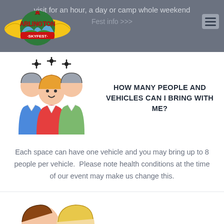visit for an hour, a day or camp whole weekend
Fest info >>>
[Figure (logo): Arlington Skyfest logo with airplane and wings]
[Figure (illustration): Three cartoon people icons with sparkles above them]
HOW MANY PEOPLE AND VEHICLES CAN I BRING WITH ME?
Each space can have one vehicle and you may bring up to 8 people per vehicle.  Please note health conditions at the time of our event may make us change this.
[Figure (illustration): Two cartoon person face icons (boy and girl) partially visible at bottom]